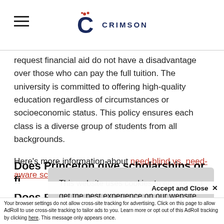CRIMSON
request financial aid do not have a disadvantage over those who can pay the full tuition. The university is committed to offering high-quality education regardless of circumstances or socioeconomic status. This policy ensures each class is a diverse group of students from all backgrounds.
Here's more information about need-blind vs. need-aware schools.
Does Princeton give scholarships or financial aid?
If you...pe... a d...
This website uses cookies to ensure you get the best experience on our website. Learn more
Accept and Close ✕
Your browser settings do not allow cross-site tracking for advertising. Click on this page to allow AdRoll to use cross-site tracking to tailor ads to you. Learn more or opt out of this AdRoll tracking by clicking here. This message only appears once.